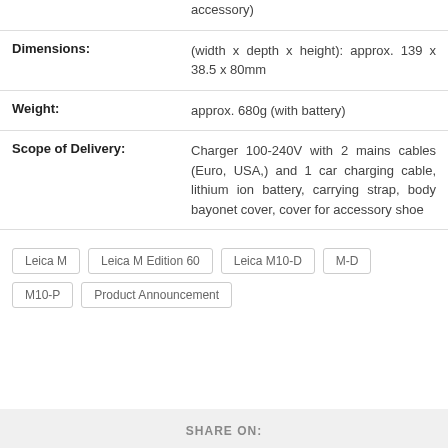|  |  |
| --- | --- |
|  | accessory) |
| Dimensions: | (width x depth x height): approx. 139 x 38.5 x 80mm |
| Weight: | approx. 680g (with battery) |
| Scope of Delivery: | Charger 100-240V with 2 mains cables (Euro, USA,) and 1 car charging cable, lithium ion battery, carrying strap, body bayonet cover, cover for accessory shoe |
Leica M
Leica M Edition 60
Leica M10-D
M-D
M10-P
Product Announcement
SHARE ON: